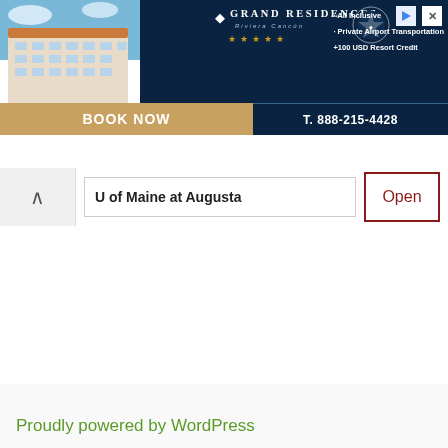[Figure (other): Grand Residences Riviera Cancun hotel advertisement banner showing resort building, logo, amenities (All Inclusive, Private Airport Transportation, +100 USD Resort Credit), BOOK NOW button, and phone number T. 888-215-4428]
U of Maine at Augusta
Open
Proudly powered by WordPress